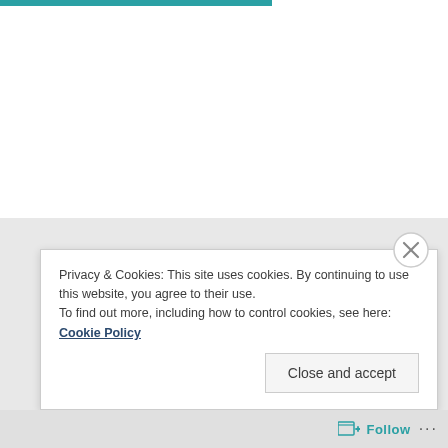[Figure (screenshot): Teal horizontal bar at the top of a webpage screenshot]
Privacy & Cookies: This site uses cookies. By continuing to use this website, you agree to their use.
To find out more, including how to control cookies, see here: Cookie Policy
Close and accept
Follow ...